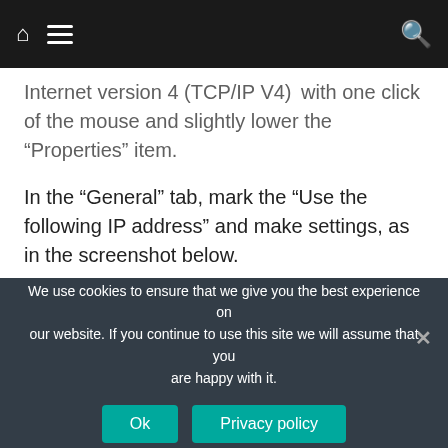[navigation bar with home icon, hamburger menu, and search icon]
Internet version 4 (TCP/IP V4) with one click of the mouse and slightly lower the “Properties” item.
In the “General” tab, mark the “Use the following IP address” and make settings, as in the screenshot below.
Now open your main browser and in the address bar, lead the IP address indicated on the lower part of the router (by default it is 192.168.One.254). In the fields of the login and password, enter admin.
We use cookies to ensure that we give you the best experience on our website. If you continue to use this site we will assume that you are happy with it. Ok | Privacy policy